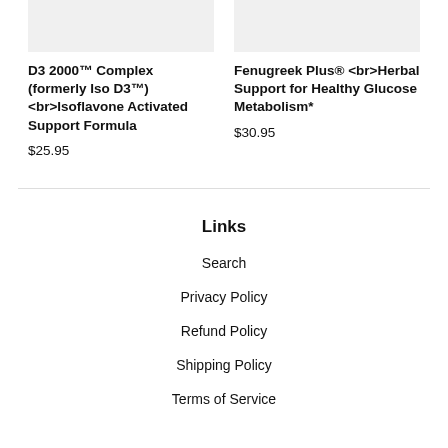[Figure (other): Product image placeholder for D3 2000 Complex, light gray rectangle]
D3 2000™ Complex (formerly Iso D3™) <br>Isoflavone Activated Support Formula
$25.95
[Figure (other): Product image placeholder for Fenugreek Plus, light gray rectangle]
Fenugreek Plus® <br>Herbal Support for Healthy Glucose Metabolism*
$30.95
Links
Search
Privacy Policy
Refund Policy
Shipping Policy
Terms of Service